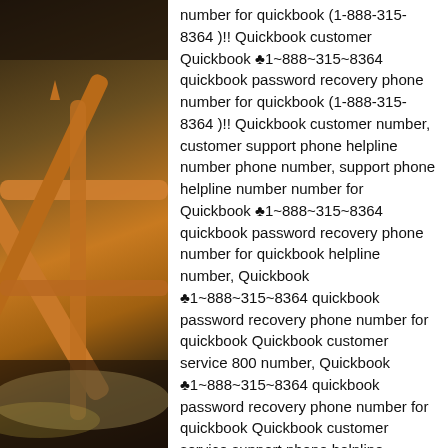[Figure (photo): Photo of bamboo railing/furniture structure, dark background with orange/yellow bamboo poles in a crisscross pattern]
number for quickbook (1-888-315-8364 )!! Quickbook customer Quickbook ♣1~888~315~8364 quickbook password recovery phone number for quickbook (1-888-315-8364 )!! Quickbook customer number, customer support phone helpline number phone number, support phone helpline number number for Quickbook ♣1~888~315~8364 quickbook password recovery phone number for quickbook helpline number, Quickbook ♣1~888~315~8364 quickbook password recovery phone number for quickbook Quickbook customer service 800 number, Quickbook ♣1~888~315~8364 quickbook password recovery phone number for quickbook Quickbook customer service support phone helpline number telephone number, Quickbook